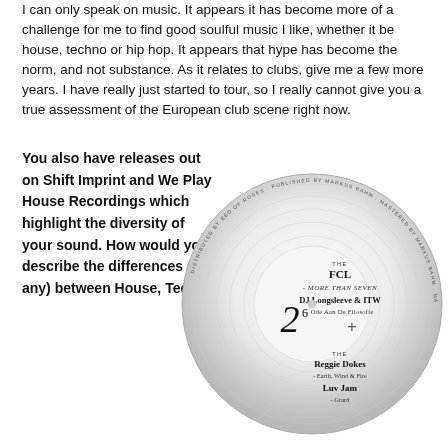I can only speak on music. It appears it has become more of a challenge for me to find good soulful music I like, whether it be house, techno or hip hop. It appears that hype has become the norm, and not substance. As it relates to clubs, give me a few more years. I have really just started to tour, so I really cannot give you a true assessment of the European club scene right now.
You also have releases out on Shift Imprint and We Play House Recordings which highlight the diversity of your sound. How would you describe the differences (if any) between House, Techno
[Figure (illustration): A vinyl record label showing: FCL - More Than Seven, DJ Longsleeve & ITW - Ode Aan De Filosofie, number 2 with superscript 6, plus sign, Reggie Dokes - Earth, Wind & Fire, Luv Jam - Grard, with circular text around the edge.]